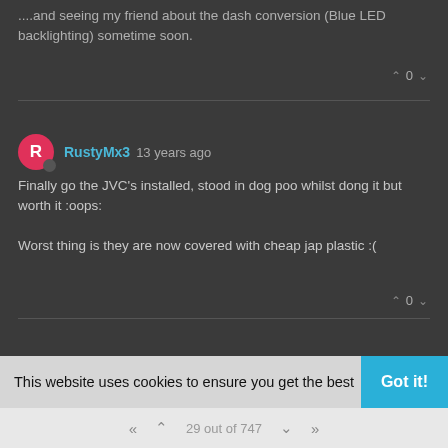....and seeing my friend about the dash conversion (Blue LED backlighting) sometime soon.
0
RustyMx3 13 years ago
Finally go the JVC's installed, stood in dog poo whilst dong it but worth it :oops:

Worst thing is they are now covered with cheap jap plastic :(
0
RustyMx3 13 years ago
Tiny little bits have arrived today.

Just a few decals and the dust caps to replace the pilfered ones
This website uses cookies to ensure you get the best
Got it!
29 out of 747